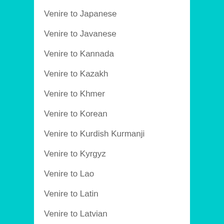Venire to Japanese
Venire to Javanese
Venire to Kannada
Venire to Kazakh
Venire to Khmer
Venire to Korean
Venire to Kurdish Kurmanji
Venire to Kyrgyz
Venire to Lao
Venire to Latin
Venire to Latvian
Venire to Lithuanian
Venire to Luxembourgish
Venire to Macedonian